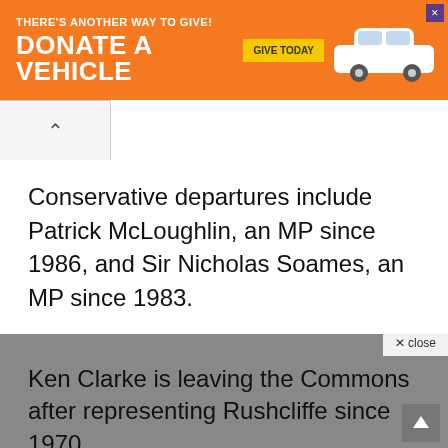[Figure (other): Orange advertisement banner reading 'THERE'S ANOTHER WAY TO GIVE! DONATE A VEHICLE' with a 'GIVE TODAY' yellow button and a white car image on the right.]
Conservative departures include Patrick McLoughlin, an MP since 1986, and Sir Nicholas Soames, an MP since 1983.
Ken Clarke is leaving the Commons after representing Rushcliffe since 1970.